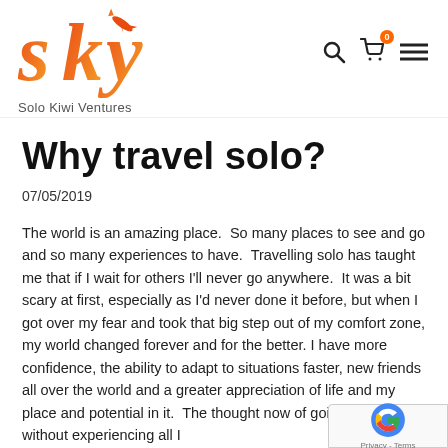Solo Kiwi Ventures
Why travel solo?
07/05/2019
The world is an amazing place.  So many places to see and go and so many experiences to have.  Travelling solo has taught me that if I wait for others I'll never go anywhere.  It was a bit scary at first, especially as I'd never done it before, but when I got over my fear and took that big step out of my comfort zone, my world changed forever and for the better. I have more confidence, the ability to adapt to situations faster, new friends all over the world and a greater appreciation of life and my place and potential in it.  The thought now of going through life without experiencing all I